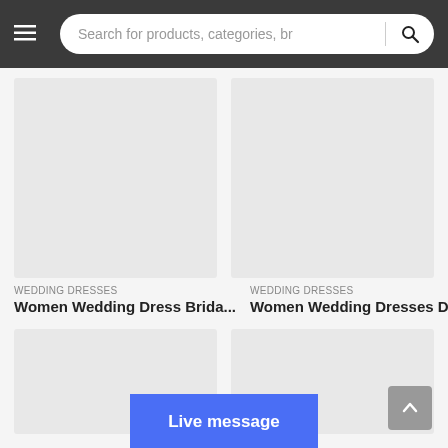Search for products, categories, br
[Figure (photo): Empty grey product image placeholder (left, top row)]
WEDDING DRESSES
Women Wedding Dress Brida...
[Figure (photo): Empty grey product image placeholder (right, top row)]
WEDDING DRESSES
Women Wedding Dresses De...
[Figure (photo): Empty grey product image placeholder (left, bottom row)]
[Figure (photo): Empty grey product image placeholder (right, bottom row)]
Live message